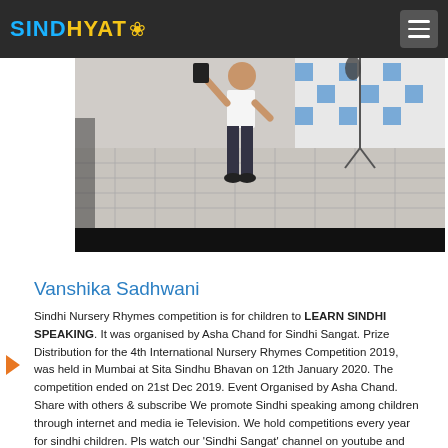SINDHYAT (logo with flower icon) — hamburger menu
[Figure (photo): A child performing or speaking at a microphone stand on a tiled floor with colorful decorated background]
Vanshika Sadhwani
Sindhi Nursery Rhymes competition is for children to LEARN SINDHI SPEAKING. It was organised by Asha Chand for Sindhi Sangat. Prize Distribution for the 4th International Nursery Rhymes Competition 2019, was held in Mumbai at Sita Sindhu Bhavan on 12th January 2020. The competition ended on 21st Dec 2019. Event Organised by Asha Chand. Share with others & subscribe We promote Sindhi speaking among children through internet and media ie Television. We hold competitions every year for sindhi children. Pls watch our 'Sindhi Sangat' channel on youtube and Subscribe.